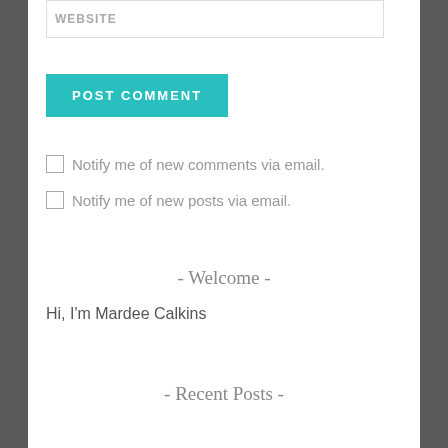WEBSITE
POST COMMENT
Notify me of new comments via email.
Notify me of new posts via email.
- Welcome -
Hi, I'm Mardee Calkins
- Recent Posts -